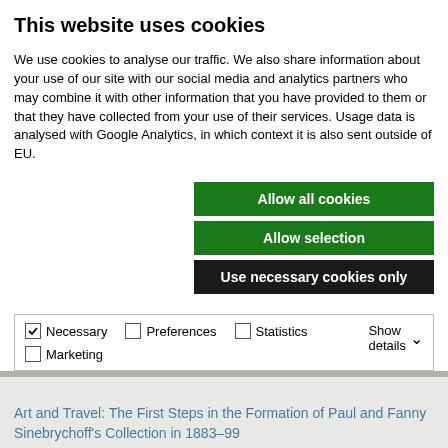This website uses cookies
We use cookies to analyse our traffic. We also share information about your use of our site with our social media and analytics partners who may combine it with other information that you have provided to them or that they have collected from your use of their services. Usage data is analysed with Google Analytics, in which context it is also sent outside of EU.
Allow all cookies
Allow selection
Use necessary cookies only
| ✓ Necessary | ☐ Preferences | ☐ Statistics | Show details ▾ |
| ☐ Marketing |  |  |  |
Art and Travel: The First Steps in the Formation of Paul and Fanny Sinebrychoff's Collection in 1883–99
A Collector's Dream
Living Encounters: Creating a Landmark Contemporary Art Show